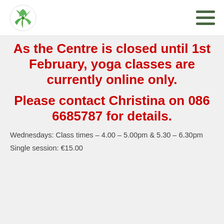Logo and navigation menu
As the Centre is closed until 1st February, yoga classes are currently online only.
Please contact Christina on 086 6685787 for details.
Wednesdays:  Class times –  4.00 – 5.00pm & 5.30 – 6.30pm
Single session: €15.00